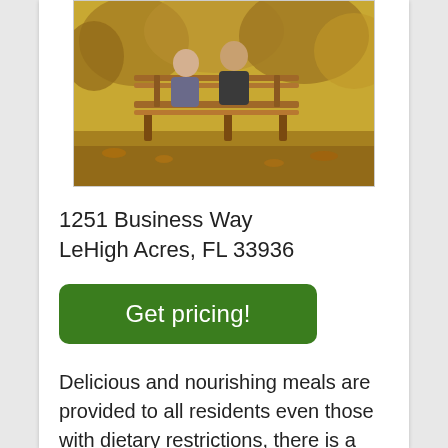[Figure (photo): Two elderly people sitting together on a wooden bench in an autumn park, viewed from behind, surrounded by trees with fall foliage.]
1251 Business Way
LeHigh Acres, FL 33936
Get pricing!
Delicious and nourishing meals are provided to all residents even those with dietary restrictions, there is a physician on call, this community has been built specifically to support memory and dementia care, trained staff can assist with injectable medication, the property has a nurse that is able to administer injectable